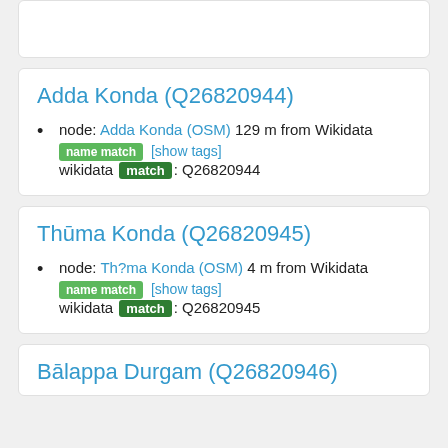Adda Konda (Q26820944)
node: Adda Konda (OSM) 129 m from Wikidata name match [show tags] wikidata match: Q26820944
Thūma Konda (Q26820945)
node: Th?ma Konda (OSM) 4 m from Wikidata name match [show tags] wikidata match: Q26820945
Bālappa Durgam (Q26820946)